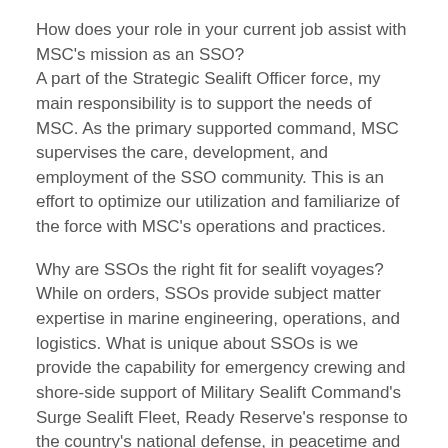How does your role in your current job assist with MSC's mission as an SSO? A part of the Strategic Sealift Officer force, my main responsibility is to support the needs of MSC. As the primary supported command, MSC supervises the care, development, and employment of the SSO community. This is an effort to optimize our utilization and familiarize of the force with MSC's operations and practices.
Why are SSOs the right fit for sealift voyages? While on orders, SSOs provide subject matter expertise in marine engineering, operations, and logistics. What is unique about SSOs is we provide the capability for emergency crewing and shore-side support of Military Sealift Command's Surge Sealift Fleet, Ready Reserve's response to the country's national defense, in peacetime and in times of national emergency.
What will your first assignment be as a newly pinned SSO? SSOs have Annual Duty Training exercises that utilizes their skill set afloat in shipyards and in ports. During my next ADT, I will